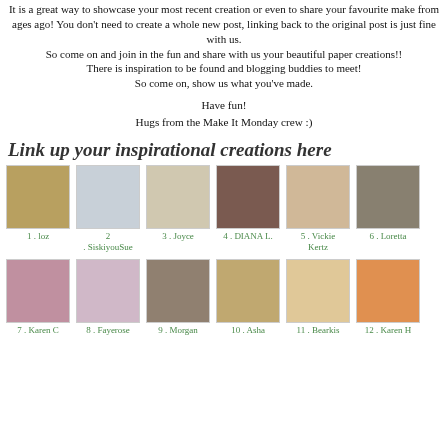It is a great way to showcase your most recent creation or even to share your favourite make from ages ago! You don't need to create a whole new post, linking back to the original post is just fine with us. So come on and join in the fun and share with us your beautiful paper creations!! There is inspiration to be found and blogging buddies to meet! So come on, show us what you've made.
Have fun!
Hugs from the Make It Monday crew :)
Link up your inspirational creations here
[Figure (photo): Grid of 12 thumbnail images showing paper craft creations, labeled 1. loz, 2. SiskiyouSue, 3. Joyce, 4. DIANA L., 5. Vickie Kertz, 6. Loretta, 7. Karen C, 8. Fayerose, 9. Morgan, 10. Asha, 11. Bearkis, 12. Karen H]